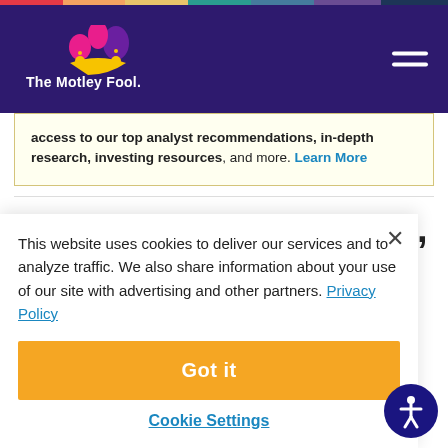The Motley Fool
access to our top analyst recommendations, in-depth research, investing resources, and more. Learn More
These are fast growers, with
This website uses cookies to deliver our services and to analyze traffic. We also share information about your use of our site with advertising and other partners. Privacy Policy
Got it
Cookie Settings